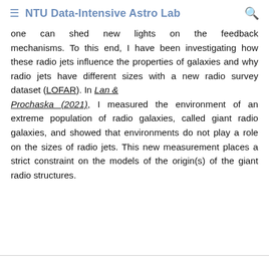NTU Data-Intensive Astro Lab
one can shed new lights on the feedback mechanisms. To this end, I have been investigating how these radio jets influence the properties of galaxies and why radio jets have different sizes with a new radio survey dataset (LOFAR). In Lan & Prochaska (2021), I measured the environment of an extreme population of radio galaxies, called giant radio galaxies, and showed that environments do not play a role on the sizes of radio jets. This new measurement places a strict constraint on the models of the origin(s) of the giant radio structures.